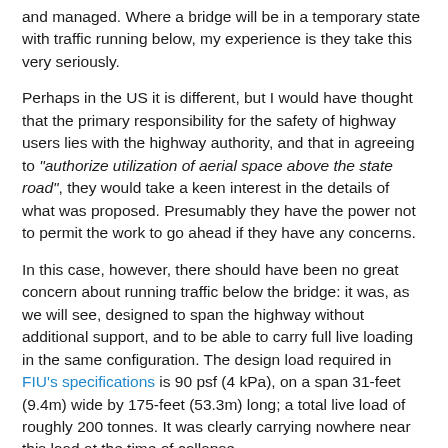and managed. Where a bridge will be in a temporary state with traffic running below, my experience is they take this very seriously.
Perhaps in the US it is different, but I would have thought that the primary responsibility for the safety of highway users lies with the highway authority, and that in agreeing to "authorize utilization of aerial space above the state road", they would take a keen interest in the details of what was proposed. Presumably they have the power not to permit the work to go ahead if they have any concerns.
In this case, however, there should have been no great concern about running traffic below the bridge: it was, as we will see, designed to span the highway without additional support, and to be able to carry full live loading in the same configuration. The design load required in FIU's specifications is 90 psf (4 kPa), on a span 31-feet (9.4m) wide by 175-feet (53.3m) long; a total live load of roughly 200 tonnes. It was clearly carrying nowhere near this load at the time of collapse.